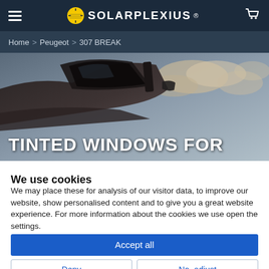SOLARPLEXIUS (navigation bar with hamburger menu and cart icon)
Home > Peugeot > 307 BREAK
[Figure (photo): Car window tinting hero image showing a dark tinted car window against a cloudy sky background, with bold white text overlay reading TINTED WINDOWS FOR]
We use cookies
We may place these for analysis of our visitor data, to improve our website, show personalised content and to give you a great website experience. For more information about the cookies we use open the settings.
Accept all
Deny
No, adjust